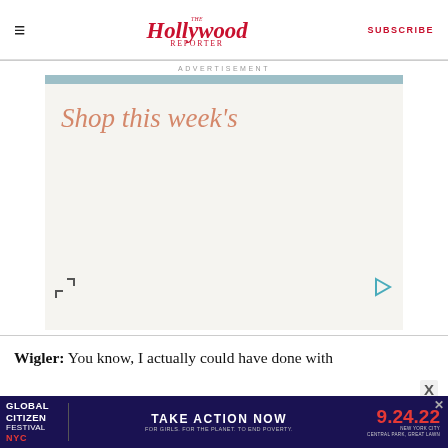The Hollywood Reporter | SUBSCRIBE
ADVERTISEMENT
[Figure (other): Advertisement banner with light beige background, teal top bar, italic salmon script text reading 'Shop this week's', expand icon bottom-left, play icon bottom-right]
Wigler: You know, I actually could have done with
[Figure (other): Global Citizen Festival NYC advertisement banner with dark navy background. Text: GLOBAL CITIZEN FESTIVAL NYC | TAKE ACTION NOW | FOR GIRLS. FOR THE PLANET. TO END POVERTY. | 9.24.22 | NEW YORK CITY CENTRAL PARK, GREAT LAWN]